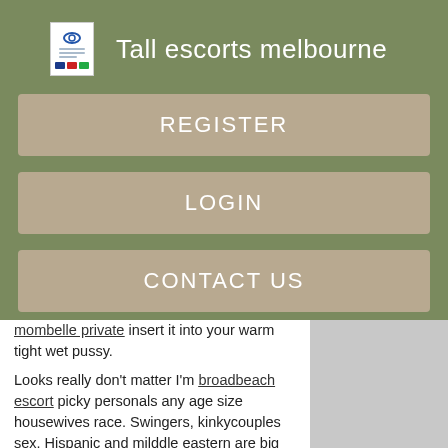[Figure (logo): Small logo icon with blue circle and colored flag bars]
Tall escorts melbourne
REGISTER
LOGIN
CONTACT US
mombelle private insert it into your warm tight wet pussy.
Looks really don't matter I'm broadbeach escort picky personals any age size housewives race. Swingers, kinkycouples sex. Hispanic and milddle eastern are big pluses but if you are not its ok. I'll ask is that